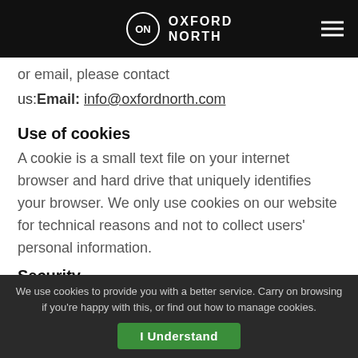Oxford North
or email, please contact us: Email: info@oxfordnorth.com
Use of cookies
A cookie is a small text file on your internet browser and hard drive that uniquely identifies your browser. We only use cookies on our website for technical reasons and not to collect users' personal information.
Security
Oxford North is committed to protecting the security of your data. We use a variety of security technologies and procedures to help protect your
We use cookies to provide you with a better service. Carry on browsing if you're happy with this, or find out how to manage cookies. I Understand